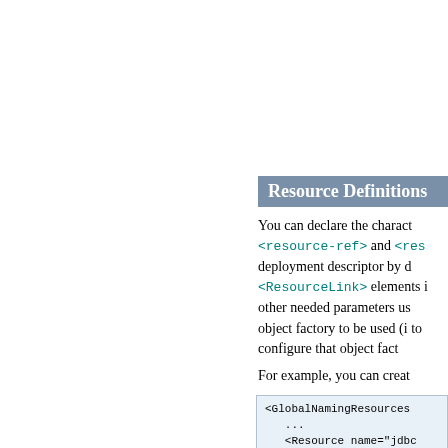| Parameter | Description |
| --- | --- |
| value | The param when requ convertabl |
Resource Definitions
You can declare the charact <resource-ref> and <res deployment descriptor by d <ResourceLink> elements i other needed parameters us object factory to be used (i to configure that object fac
For example, you can creat
<GlobalNamingResources
  ...
  <Resource name="jdbc type="java description="Empl
  ...
</GlobalNamingResources
This is equivalent to the in deployment descriptor (...